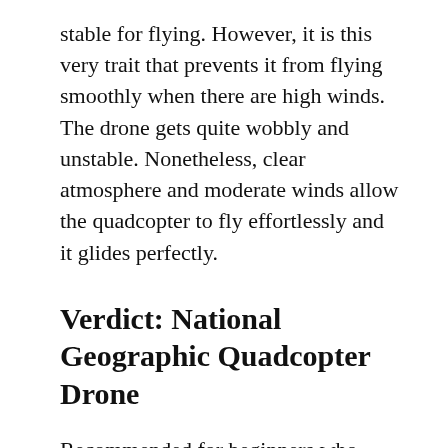stable for flying. However, it is this very trait that prevents it from flying smoothly when there are high winds. The drone gets quite wobbly and unstable. Nonetheless, clear atmosphere and moderate winds allow the quadcopter to fly effortlessly and it glides perfectly.
Verdict: National Geographic Quadcopter Drone
Recommended for beginners who want to take some pleasure in flying a copter. This one‑button‑ for‑ each‑ action remote makes sure that the novice has an easy stint at